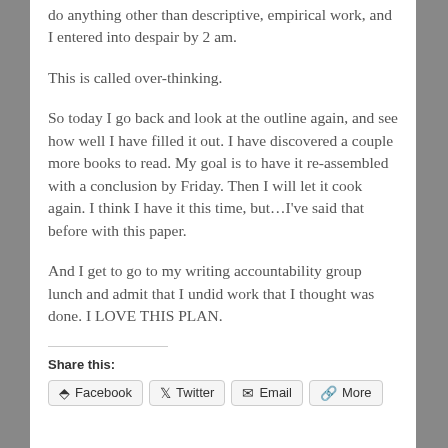do anything other than descriptive, empirical work, and I entered into despair by 2 am.
This is called over-thinking.
So today I go back and look at the outline again, and see how well I have filled it out. I have discovered a couple more books to read. My goal is to have it re-assembled with a conclusion by Friday. Then I will let it cook again. I think I have it this time, but…I've said that before with this paper.
And I get to go to my writing accountability group lunch and admit that I undid work that I thought was done. I LOVE THIS PLAN.
Share this:
Facebook  Twitter  Email  More